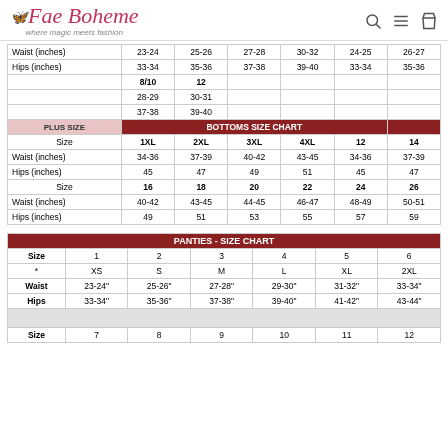Fae Boheme — where magic meets fashion
|  | 8/10 | 12 |  |  |  |  |
| --- | --- | --- | --- | --- | --- | --- |
| Waist (inches) | 23-24 | 25-26 | 27-28 | 30-32 | 24-25 | 26-27 |
| Hips (inches) | 33-34 | 35-36 | 37-38 | 39-40 | 33-34 | 35-36 |
|  | 8/10 | 12 |  |  |  |  |
|  | 28-29 | 30-31 |  |  |  |  |
|  | 37-38 | 39-40 |  |  |  |  |
| PLUS SIZE | BOTTOMS SIZE CHART |  |  |  |  |  |
| Size | 1XL | 2XL | 3XL | 4XL | 12 | 14 |
| Waist (inches) | 34-36 | 37-39 | 40-42 | 43-45 | 34-36 | 37-39 |
| Hips (inches) | 45 | 47 | 49 | 51 | 45 | 47 |
| Size | 16 | 18 | 20 | 22 | 24 | 26 |
| Waist (inches) | 40-42 | 43-45 | 44-45 | 46-47 | 48-49 | 50-51 |
| Hips (inches) | 49 | 51 | 53 | 55 | 57 | 59 |
| PANTIES - SIZE CHART |  |  |  |  |  |  |
| --- | --- | --- | --- | --- | --- | --- |
| Size | 1 | 2 | 3 | 4 | 5 | 6 |
| * | XS | S | M | L | XL | 2XL |
| Waist | 23-24" | 25-26" | 27-28" | 29-30" | 31-32" | 33-34" |
| Hips | 33-34" | 35-36" | 37-38" | 39-40" | 41-42" | 43-44" |
|  |  |  |  |  |  |  |
| Size | 7 | 8 | 9 | 10 | 11 | 12 |